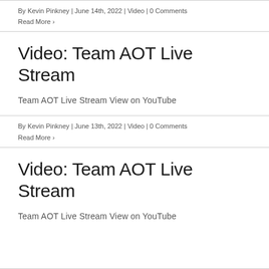By Kevin Pinkney | June 14th, 2022 | Video | 0 Comments
Read More >
Video: Team AOT Live Stream
Team AOT Live Stream View on YouTube
By Kevin Pinkney | June 13th, 2022 | Video | 0 Comments
Read More >
Video: Team AOT Live Stream
Team AOT Live Stream View on YouTube